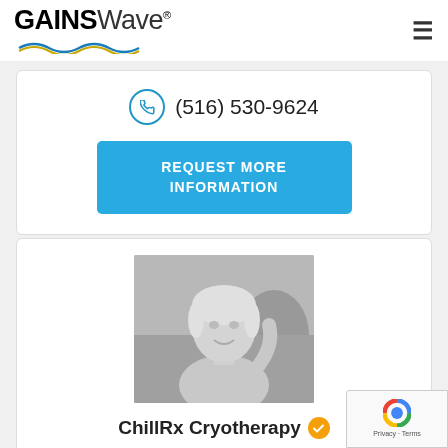[Figure (logo): GAINSWave logo with wave underline graphic in blue and gold]
(516) 530-9624
REQUEST MORE INFORMATION
[Figure (photo): Black and white photo of a blonde woman (Myrna Sharma, RN) smiling, with medical equipment visible in background]
ChillRx Cryotherapy
Myrna Sharma, RN